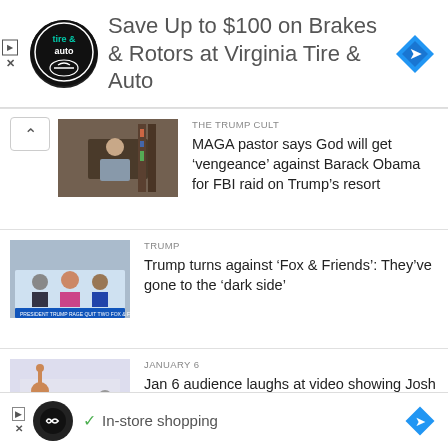[Figure (infographic): Advertisement banner for Virginia Tire & Auto with logo, text 'Save Up to $100 on Brakes & Rotors at Virginia Tire & Auto', and blue diamond navigation icon]
THE TRUMP CULT
MAGA pastor says God will get ‘vengeance’ against Barack Obama for FBI raid on Trump’s resort
TRUMP
Trump turns against ‘Fox & Friends’: They’ve gone to the ‘dark side’
JANUARY 6
Jan 6 audience laughs at video showing Josh Hawley pump fist at rioters then run for his life
POLITICS
[Figure (infographic): Bottom advertisement with black circle logo, checkmark, text 'In-store shopping', and blue diamond navigation icon]